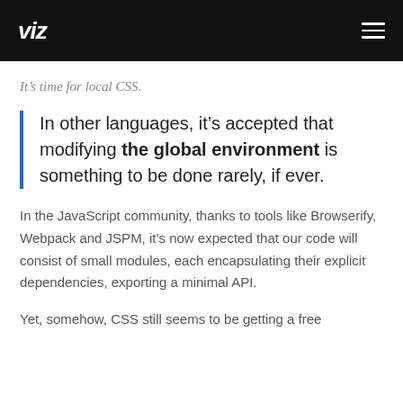viz
It’s time for local CSS.
In other languages, it’s accepted that modifying the global environment is something to be done rarely, if ever.
In the JavaScript community, thanks to tools like Browserify, Webpack and JSPM, it’s now expected that our code will consist of small modules, each encapsulating their explicit dependencies, exporting a minimal API.
Yet, somehow, CSS still seems to be getting a free